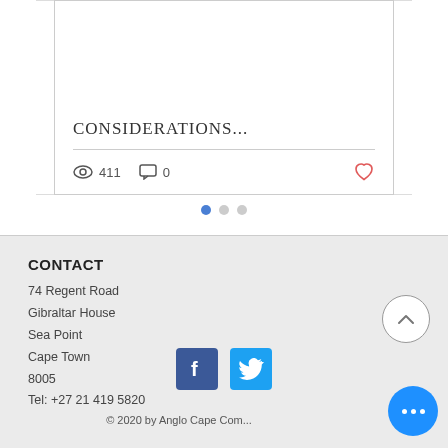CONSIDERATIONS...
411 views · 0 comments
[Figure (screenshot): Pagination dots: one filled blue dot and two grey dots]
CONTACT
74 Regent Road
Gibraltar House
Sea Point
Cape Town
8005
Tel: +27 21 419 5820
[Figure (logo): Facebook logo icon (blue square with white f)]
[Figure (logo): Twitter logo icon (light blue square with white bird)]
© 2020 by Anglo Cape Com...